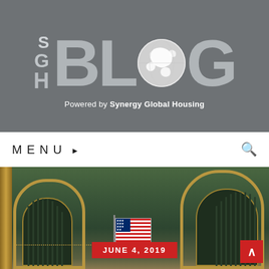[Figure (logo): SGH Blog logo — letters SGH stacked on left, large BLOG text with globe replacing the O, on dark gray background. Text below: Powered by Synergy Global Housing]
MENU ❯
[Figure (photo): Interior of Grand Central Terminal showing ornate arched windows, American flag, teal/green ceiling. Red badge overlay reads JUNE 4, 2019. Red scroll-to-top button in bottom right corner.]